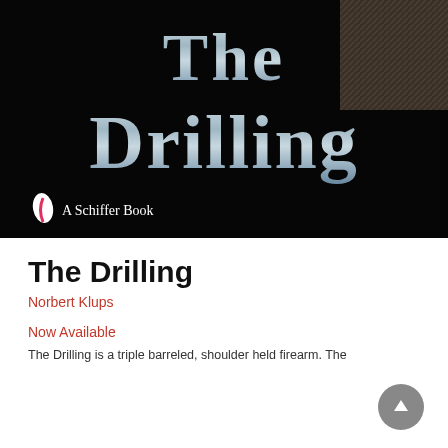[Figure (photo): Book cover of 'The Drilling' by Norbert Klups, published by Schiffer Books. Black background with large silver/chrome title text 'The Drilling' and the Schiffer Book logo at the bottom left.]
The Drilling
Norbert Klups
Now Available
The Drilling is a triple barreled, shoulder held firearm. The